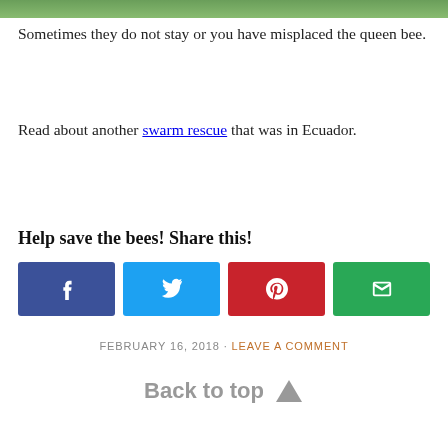[Figure (photo): Top image strip showing green foliage]
Sometimes they do not stay or you have misplaced the queen bee.
Read about another swarm rescue that was in Ecuador.
Help save the bees! Share this!
[Figure (infographic): Social share buttons: Facebook (blue), Twitter (light blue), Pinterest (red), Email (green)]
FEBRUARY 16, 2018 · LEAVE A COMMENT
Back to top ▲